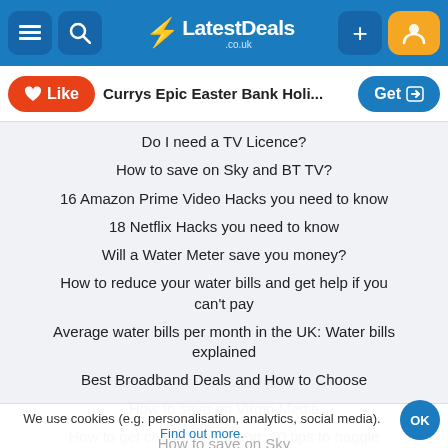LatestDeals.co.uk navigation bar
Currys Epic Easter Bank Holi...
Do I need a TV Licence?
How to save on Sky and BT TV?
16 Amazon Prime Video Hacks you need to know
18 Netflix Hacks you need to know
Will a Water Meter save you money?
How to reduce your water bills and get help if you can't pay
Average water bills per month in the UK: Water bills explained
Best Broadband Deals and How to Choose
How to save on Virgin Media
How to get cheap broadband: 10 tips to haggle broadband
We use cookies (e.g. personalisation, analytics, social media). Find out more.
How to save on Sky